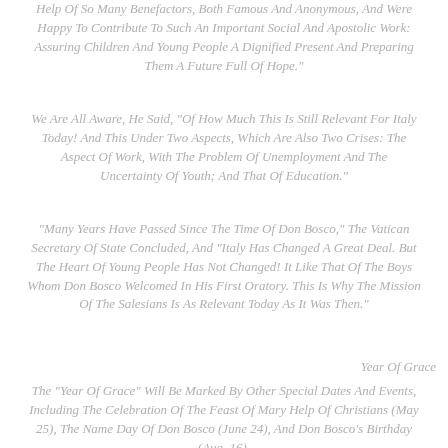Help Of So Many Benefactors, Both Famous And Anonymous, And Were Happy To Contribute To Such An Important Social And Apostolic Work: Assuring Children And Young People A Dignified Present And Preparing Them A Future Full Of Hope."
We Are All Aware, He Said, "Of How Much This Is Still Relevant For Italy Today! And This Under Two Aspects, Which Are Also Two Crises: The Aspect Of Work, With The Problem Of Unemployment And The Uncertainty Of Youth; And That Of Education."
"Many Years Have Passed Since The Time Of Don Bosco," The Vatican Secretary Of State Concluded, And "Italy Has Changed A Great Deal. But The Heart Of Young People Has Not Changed! It Like That Of The Boys Whom Don Bosco Welcomed In His First Oratory. This Is Why The Mission Of The Salesians Is As Relevant Today As It Was Then."
Year Of Grace
The "Year Of Grace" Will Be Marked By Other Special Dates And Events, Including The Celebration Of The Feast Of Mary Help Of Christians (May 25), The Name Day Of Don Bosco (June 24), And Don Bosco's Birthday (Aug. 16).